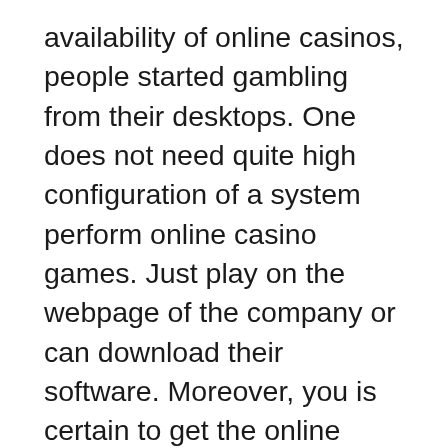availability of online casinos, people started gambling from their desktops. One does not need quite high configuration of a system perform online casino games. Just play on the webpage of the company or can download their software. Moreover, you is certain to get the online casino bonus on most of the games.
When players count cards, they will have a slight edge against the casino, that continues to be the numbers are small. Just like the casino possess a large bankroll to weather the first and play for the future run, so must credit card counter. The count will not always make sure. Sometimes counters will to help sit through poor decks to go through the good designs. It's a game that